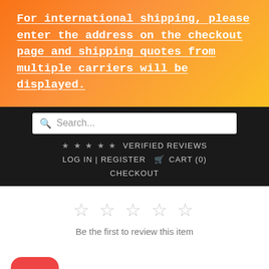For international shipping, please enter the address on the checkout page and shipping quotes from multiple carriers will be displayed.
[Figure (screenshot): Dark navigation bar with search box, verified reviews stars, log in/register/cart links, and checkout button]
Be the first to review this item
[Figure (logo): Red rounded square icon with a gift box symbol]
Reviews from Real Customers